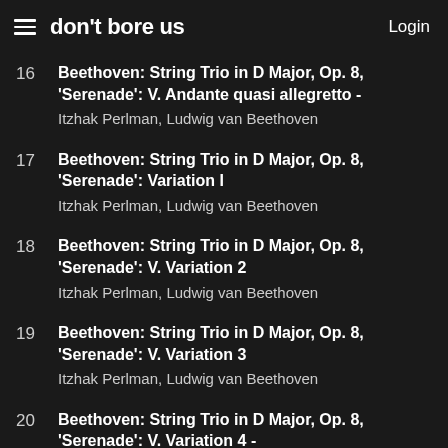don't bore us  Login
16  Beethoven: String Trio in D Major, Op. 8, 'Serenade': V. Andante quasi allegretto -
Itzhak Perlman, Ludwig van Beethoven
17  Beethoven: String Trio in D Major, Op. 8, 'Serenade': Variation I
Itzhak Perlman, Ludwig van Beethoven
18  Beethoven: String Trio in D Major, Op. 8, 'Serenade': V. Variation 2
Itzhak Perlman, Ludwig van Beethoven
19  Beethoven: String Trio in D Major, Op. 8, 'Serenade': V. Variation 3
Itzhak Perlman, Ludwig van Beethoven
20  Beethoven: String Trio in D Major, Op. 8, 'Serenade': V. Variation 4 -